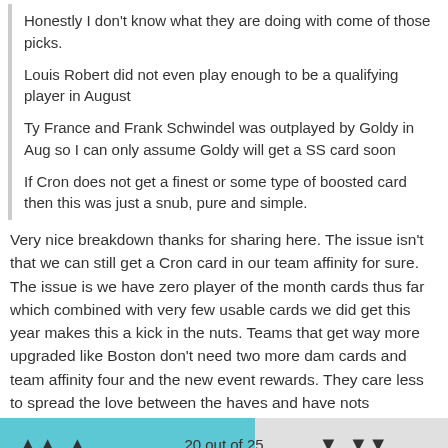Honestly I don't know what they are doing with come of those picks.
Louis Robert did not even play enough to be a qualifying player in August
Ty France and Frank Schwindel was outplayed by Goldy in Aug so I can only assume Goldy will get a SS card soon
If Cron does not get a finest or some type of boosted card then this was just a snub, pure and simple.
Very nice breakdown thanks for sharing here. The issue isn't that we can still get a Cron card in our team affinity for sure. The issue is we have zero player of the month cards thus far which combined with very few usable cards we did get this year makes this a kick in the nuts. Teams that get way more upgraded like Boston don't need two more dam cards and team affinity four and the new event rewards. They care less to spread the love between the haves and have nots
20 out of 25